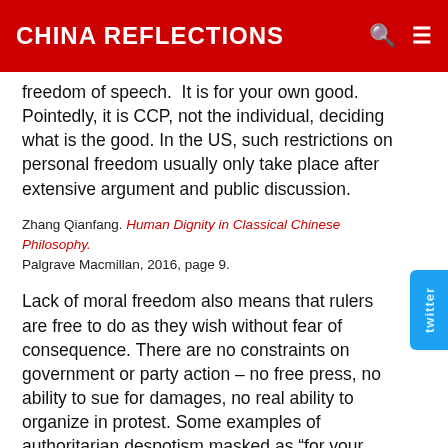CHINA REFLECTIONS
freedom of speech.  It is for your own good. Pointedly, it is CCP, not the individual, deciding what is the good. In the US, such restrictions on personal freedom usually only take place after extensive argument and public discussion.
Zhang Qianfang. Human Dignity in Classical Chinese Philosophy. Palgrave Macmillan, 2016, page 9.
Lack of moral freedom also means that rulers are free to do as they wish without fear of consequence. There are no constraints on government or party action – no free press, no ability to sue for damages, no real ability to organize in protest. Some examples of authoritarian despotism masked as “for your own good” –